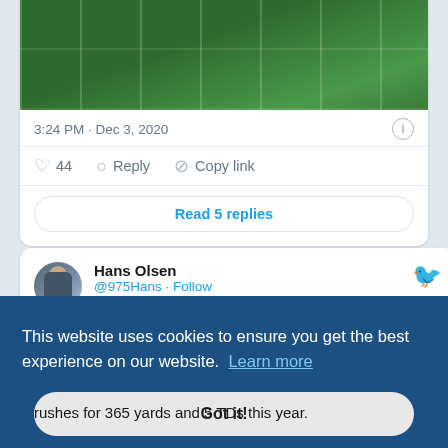[Figure (screenshot): Screenshot of a football game on a green field with yard lines visible, players in action.]
3:24 PM · Dec 3, 2020
44  Reply  Copy link
Read 5 replies
Hans Olsen
@975Hans · Follow
rushes for 365 yards and 5 TDs this year.
This website uses cookies to ensure you get the best experience on our website.  Learn more
Got it!